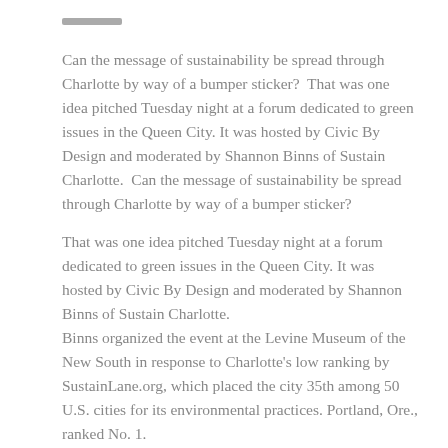Can the message of sustainability be spread through Charlotte by way of a bumper sticker?  That was one idea pitched Tuesday night at a forum dedicated to green issues in the Queen City. It was hosted by Civic By Design and moderated by Shannon Binns of Sustain Charlotte.  Can the message of sustainability be spread through Charlotte by way of a bumper sticker?
That was one idea pitched Tuesday night at a forum dedicated to green issues in the Queen City. It was hosted by Civic By Design and moderated by Shannon Binns of Sustain Charlotte.
Binns organized the event at the Levine Museum of the New South in response to Charlotte's low ranking by SustainLane.org, which placed the city 35th among 50 U.S. cities for its environmental practices. Portland, Ore., ranked No. 1.